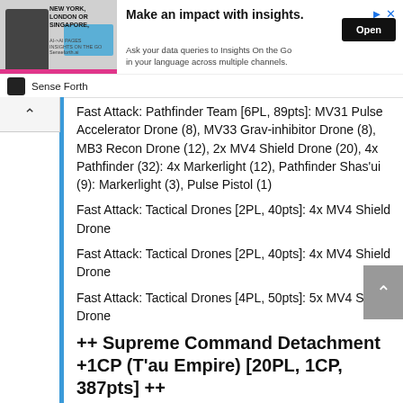[Figure (other): Advertisement banner for Sense Forth / Insights On the Go service featuring a person, text 'NEW YORK, LONDON OR SINGAPORE', headline 'Make an impact with insights.', subtext 'Ask your data queries to Insights On the Go in your language across multiple channels.', an Open button, and the Sense Forth brand logo.]
Fast Attack: Pathfinder Team [6PL, 89pts]: MV31 Pulse Accelerator Drone (8), MV33 Grav-inhibitor Drone (8), MB3 Recon Drone (12), 2x MV4 Shield Drone (20), 4x Pathfinder (32): 4x Markerlight (12), Pathfinder Shas'ui (9): Markerlight (3), Pulse Pistol (1)
Fast Attack: Tactical Drones [2PL, 40pts]: 4x MV4 Shield Drone
Fast Attack: Tactical Drones [2PL, 40pts]: 4x MV4 Shield Drone
Fast Attack: Tactical Drones [4PL, 50pts]: 5x MV4 Shield Drone
++ Supreme Command Detachment +1CP (T'au Empire) [20PL, 1CP, 387pts] ++